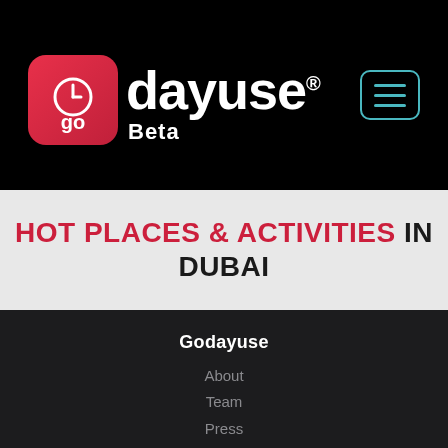[Figure (logo): Go Dayuse logo with red rounded square icon showing 'go' text and clock design, white wordmark text 'godayuse' with registered trademark, Beta label below, and teal hamburger menu button top right]
HOT PLACES & ACTIVITIES IN DUBAI
Godayuse
About
Team
Press
Blog
Newsroom
Explore
All Destinations
All Categories